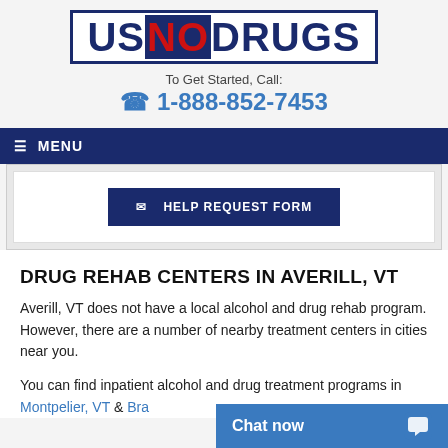[Figure (logo): USNODRUGS logo with dark blue border box. US and DRUGS in dark navy, NO in red on dark navy background.]
To Get Started, Call:
☎ 1-888-852-7453
≡ MENU
✉ HELP REQUEST FORM
DRUG REHAB CENTERS IN AVERILL, VT
Averill, VT does not have a local alcohol and drug rehab program. However, there are a number of nearby treatment centers in cities near you.
You can find inpatient alcohol and drug treatment programs in Montpelier, VT & Bra…
Chat now